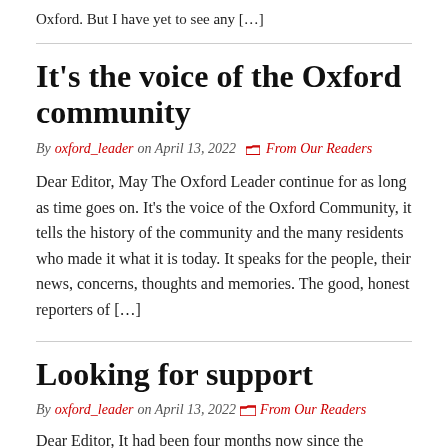Oxford. But I have yet to see any […]
It's the voice of the Oxford community
By oxford_leader on April 13, 2022  From Our Readers
Dear Editor, May The Oxford Leader continue for as long as time goes on. It's the voice of the Oxford Community, it tells the history of the community and the many residents who made it what it is today. It speaks for the people, their news, concerns, thoughts and memories. The good, honest reporters of […]
Looking for support
By oxford_leader on April 13, 2022  From Our Readers
Dear Editor, It had been four months now since the Oxford